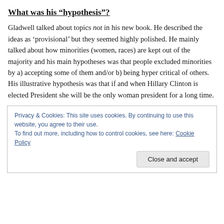What was his “hypothesis”?
Gladwell talked about topics not in his new book. He described the ideas as ‘provisional’ but they seemed highly polished. He mainly talked about how minorities (women, races) are kept out of the majority and his main hypotheses was that people excluded minorities by a) accepting some of them and/or b) being hyper critical of others. His illustrative hypothesis was that if and when Hillary Clinton is elected President she will be the only woman president for a long time.
Privacy & Cookies: This site uses cookies. By continuing to use this website, you agree to their use.
To find out more, including how to control cookies, see here: Cookie Policy